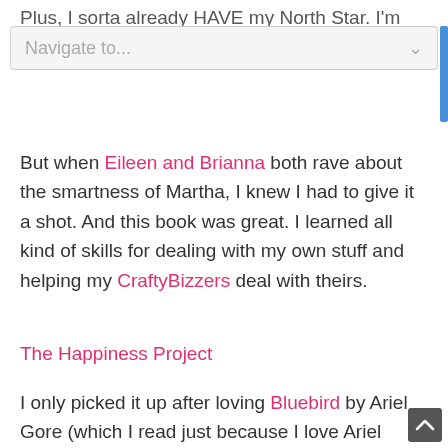Plus, I sorta already HAVE my North Star. I'm already
[Figure (screenshot): Navigation dropdown bar with 'Navigate to...' placeholder text and a downward chevron arrow on gray background]
But when Eileen and Brianna both rave about the smartness of Martha, I knew I had to give it a shot. And this book was great. I learned all kind of skills for dealing with my own stuff and helping my CraftyBizzers deal with theirs.
The Happiness Project
I only picked it up after loving Bluebird by Ariel Gore (which I read just because I love Ariel Gore), because I like to put together my own little series around a theme (why yes, I am a geek).
I'm not really into improve-your-life programs. I'm all about improving my life, but not through traditional, do-